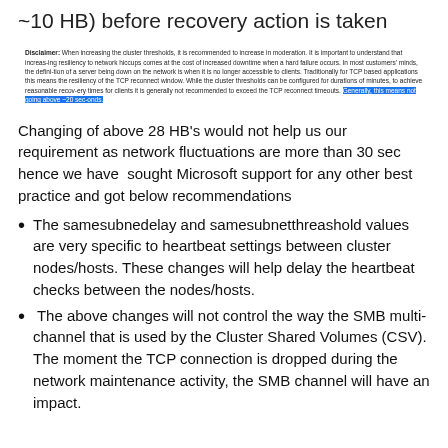~10 HB) before recovery action is taken
Disclaimer: When increasing the cluster thresholds, it is recommended to increase in moderation. It is important to understand that increasing resiliency to network hiccups comes at the cost of increased downtime when a hard failure occurs. In most customers' minds, the definition of a server being down on the network is when it is no longer accessible to clients. Traditionally for TCP based applications this means the resiliency of the TCP reconnect window. While the cluster thresholds can be configured for durations of minutes, to achieve reasonable recovery times for clients it is generally not recommended to exceed the TCP reconnect timeouts. Generally, this means not going above ~20 seconds.
Changing of above 28 HB's would not help us our requirement as network fluctuations are more than 30 sec hence we have sought Microsoft support for any other best practice and got below recommendations
The samesubnedelay and samesubnetthreashold values are very specific to heartbeat settings between cluster nodes/hosts. These changes will help delay the heartbeat checks between the nodes/hosts.
The above changes will not control the way the SMB multi-channel that is used by the Cluster Shared Volumes (CSV). The moment the TCP connection is dropped during the network maintenance activity, the SMB channel will have an impact.